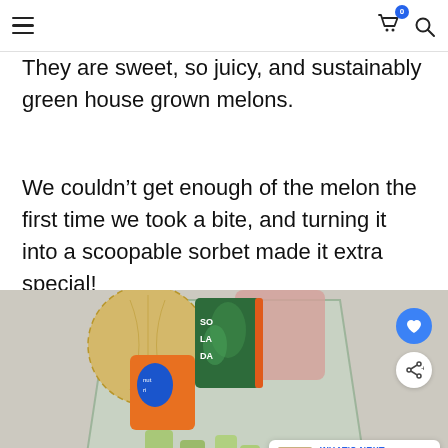[Navigation bar with hamburger menu, cart icon (badge: 0), and search icon]
They are sweet, so juicy, and sustainably green house grown melons.
We couldn’t get enough of the melon the first time we took a bite, and turning it into a scoopable sorbet made it extra special!
[Figure (photo): Photo of melon sorbet preparation: a cantaloupe melon, a SOLADA brand packet (green with leaf pattern), an orange packet, and a blender jar with cubed green melon pieces inside. Blue heart/favorite button and white share button overlay the photo. A 'What's Next' card with 'Baby's First Healthy...' thumbnail appears bottom-right.]